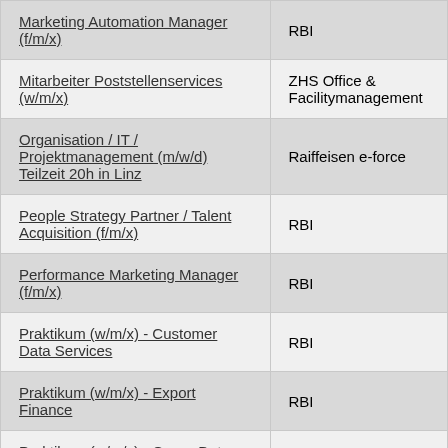| Job Title | Company |
| --- | --- |
| Marketing Automation Manager (f/m/x) | RBI |
| Mitarbeiter Poststellenservices (w/m/x) | ZHS Office & Facilitymanagement |
| Organisation / IT / Projektmanagement (m/w/d) Teilzeit 20h in Linz | Raiffeisen e-force |
| People Strategy Partner / Talent Acquisition (f/m/x) | RBI |
| Performance Marketing Manager (f/m/x) | RBI |
| Praktikum (w/m/x) - Customer Data Services | RBI |
| Praktikum (w/m/x) - Export Finance | RBI |
| Praktikum (w/m/x) - Group Data Privacy & Quality Governance | RBI |
| Praktikum (w/m/x) - Group Resilience | RBI |